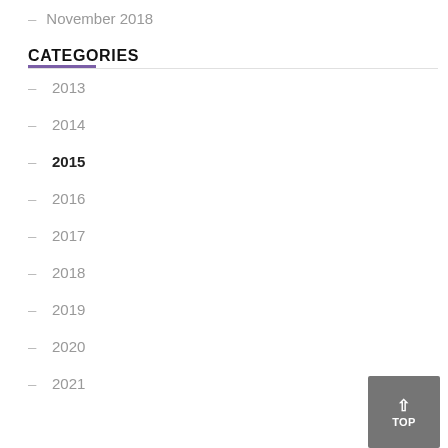November 2018
CATEGORIES
2013
2014
2015
2016
2017
2018
2019
2020
2021